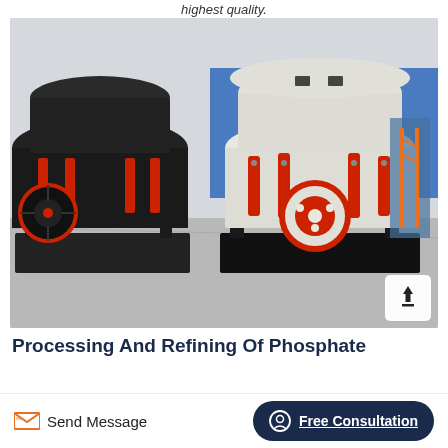highest quality.
[Figure (photo): Two large industrial cone crushers in a factory/warehouse setting. Left machine is black with red hydraulic cylinders; right machine is white/cream with red hydraulic cylinders and a large red flywheel. Both are mounted on steel frames on a concrete floor.]
Processing And Refining Of Phosphate
Send Message
Free Consultation